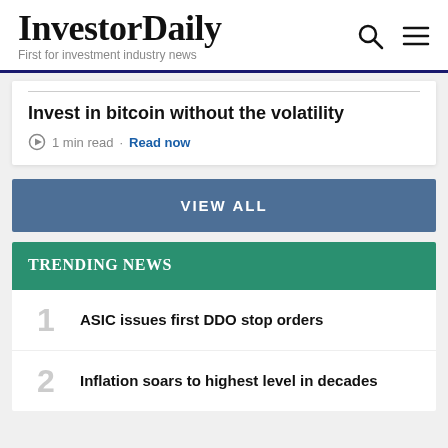InvestorDaily — First for investment industry news
Invest in bitcoin without the volatility
1 min read · Read now
VIEW ALL
TRENDING NEWS
1 ASIC issues first DDO stop orders
2 Inflation soars to highest level in decades